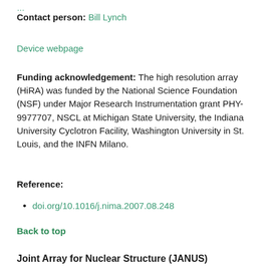Contact person: Bill Lynch
Device webpage
Funding acknowledgement: The high resolution array (HiRA) was funded by the National Science Foundation (NSF) under Major Research Instrumentation grant PHY-9977707, NSCL at Michigan State University, the Indiana University Cyclotron Facility, Washington University in St. Louis, and the INFN Milano.
Reference:
doi.org/10.1016/j.nima.2007.08.248
Back to top
Joint Array for Nuclear Structure (JANUS)